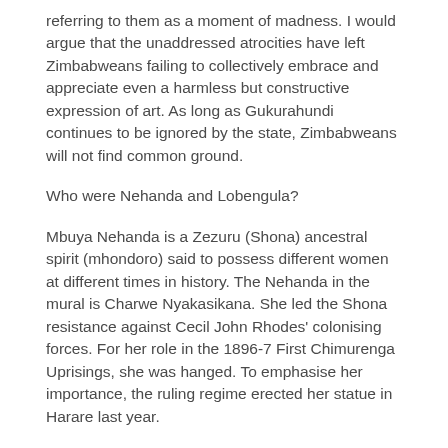referring to them as a moment of madness. I would argue that the unaddressed atrocities have left Zimbabweans failing to collectively embrace and appreciate even a harmless but constructive expression of art. As long as Gukurahundi continues to be ignored by the state, Zimbabweans will not find common ground.
Who were Nehanda and Lobengula?
Mbuya Nehanda is a Zezuru (Shona) ancestral spirit (mhondoro) said to possess different women at different times in history. The Nehanda in the mural is Charwe Nyakasikana. She led the Shona resistance against Cecil John Rhodes' colonising forces. For her role in the 1896-7 First Chimurenga Uprisings, she was hanged. To emphasise her importance, the ruling regime erected her statue in Harare last year.
A son and successor of King Mzilikazi, founder of the Ndebele Kingdom, King Lobengula ruled the nation from 1868 to the 1890s when his kingdom succumbed to the British. He was never captured. In polarised Zimbabwe, some Shona people blame him for signing the Rudd